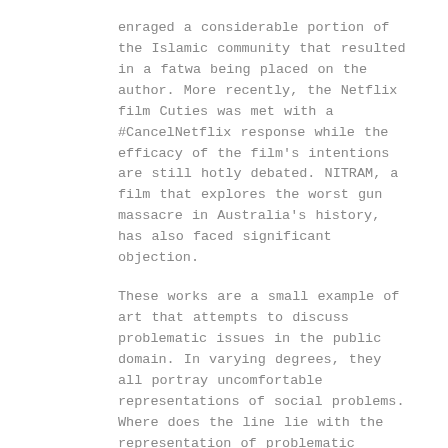enraged a considerable portion of the Islamic community that resulted in a fatwa being placed on the author. More recently, the Netflix film Cuties was met with a #CancelNetflix response while the efficacy of the film's intentions are still hotly debated. NITRAM, a film that explores the worst gun massacre in Australia's history, has also faced significant objection.
These works are a small example of art that attempts to discuss problematic issues in the public domain. In varying degrees, they all portray uncomfortable representations of social problems. Where does the line lie with the representation of problematic themes in works of art? Does a work of art with the platform of Netflix have more of a responsibility to stay within the confines of non-controversy? Or, conversely, because of its platform, should this be the very arena that tackles problematic social